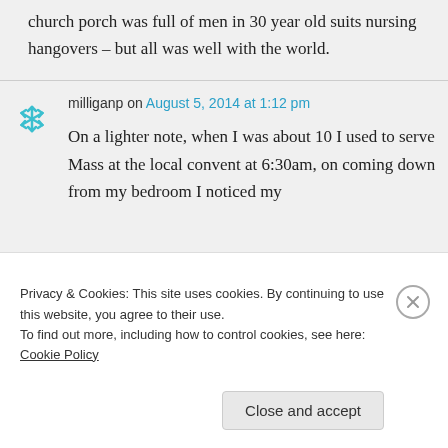church porch was full of men in 30 year old suits nursing hangovers – but all was well with the world.
milliganp on August 5, 2014 at 1:12 pm
On a lighter note, when I was about 10 I used to serve Mass at the local convent at 6:30am, on coming down from my bedroom I noticed my
Privacy & Cookies: This site uses cookies. By continuing to use this website, you agree to their use.
To find out more, including how to control cookies, see here: Cookie Policy